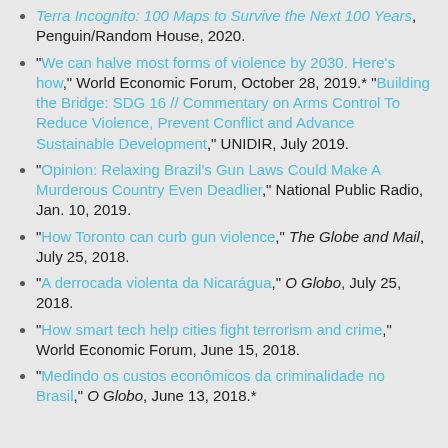Terra Incognito: 100 Maps to Survive the Next 100 Years, Penguin/Random House, 2020.
"We can halve most forms of violence by 2030. Here's how," World Economic Forum, October 28, 2019.* "Building the Bridge: SDG 16 // Commentary on Arms Control To Reduce Violence, Prevent Conflict and Advance Sustainable Development," UNIDIR, July 2019.
"Opinion: Relaxing Brazil's Gun Laws Could Make A Murderous Country Even Deadlier," National Public Radio, Jan. 10, 2019.
"How Toronto can curb gun violence," The Globe and Mail, July 25, 2018.
"A derrocada violenta da Nicarágua," O Globo, July 25, 2018.
"How smart tech help cities fight terrorism and crime," World Economic Forum, June 15, 2018.
"Medindo os custos econômicos da criminalidade no Brasil," O Globo, June 13, 2018.*